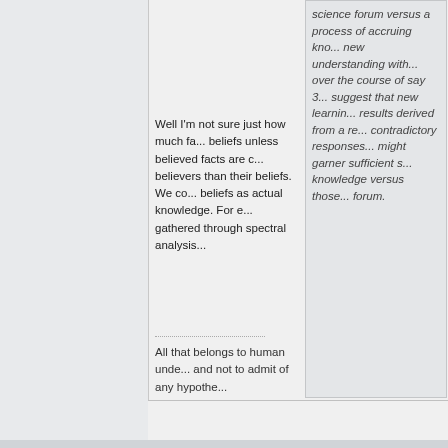[Figure (photo): Profile photo of a man wearing a yellow tie and blue/grey vest jacket]
Join Date: Dec 2005
Location: Driving in my car
Posts: 5,950
science forum versus a process of accruing knowledge, new understanding with... over the course of say 3... suggest that new learning results derived from a re... contradictory responses... might garner sufficient s... knowledge versus those... forum.
Well I'm not sure just how much fa... beliefs unless believed facts are c... believers than their beliefs. We co... beliefs as actual knowledge. For e... gathered through spectral analysis...
All that belongs to human unde... and not to admit of any hypothe... probability…...Hume